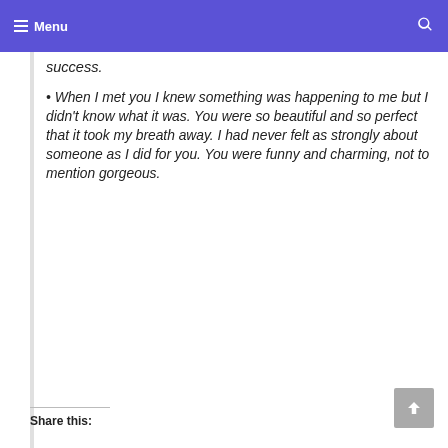Menu
success.
When I met you I knew something was happening to me but I didn't know what it was. You were so beautiful and so perfect that it took my breath away. I had never felt as strongly about someone as I did for you. You were funny and charming, not to mention gorgeous.
Share this: